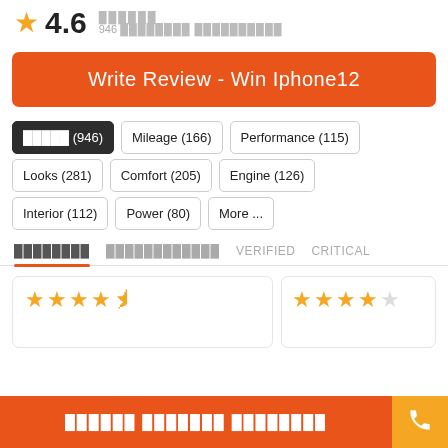4.6 ▪▪▪▪▪ — 946 ▪▪▪▪▪▪▪▪ ▪▪▪▪▪▪▪▪▪▪▪
Write Review - Win Iphone12
▪▪▪▪▪ (946)
Mileage (166)
Performance (115)
Looks (281)
Comfort (205)
Engine (126)
Interior (112)
Power (80)
More ...
▪▪▪▪▪▪▪▪  ▪▪▪▪▪▪▪▪▪▪▪▪▪  VERIFIED  CRITICAL
[Figure (other): Two review cards with 4.5-star ratings]
▪▪▪▪▪ ▪▪▪▪▪▪▪ ▪▪▪▪▪▪▪▪